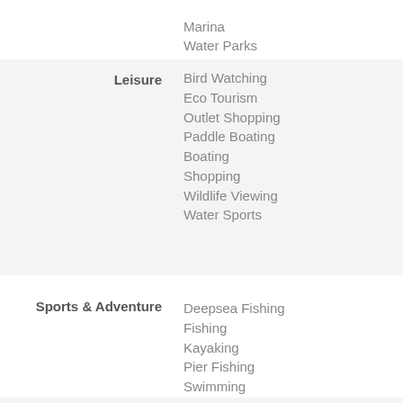Marina
Water Parks
Leisure
Bird Watching
Eco Tourism
Outlet Shopping
Paddle Boating
Boating
Shopping
Wildlife Viewing
Water Sports
Sports & Adventure
Deepsea Fishing
Fishing
Kayaking
Pier Fishing
Swimming